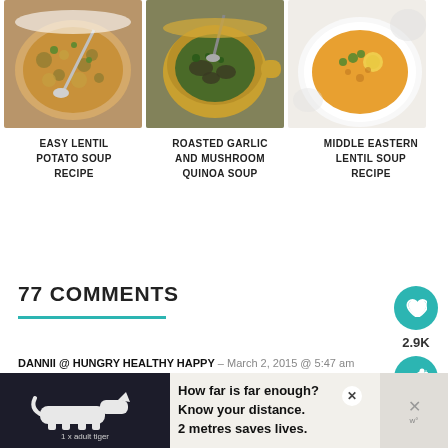[Figure (photo): Three food photos in a row: Easy Lentil Potato Soup, Roasted Garlic and Mushroom Quinoa Soup, Middle Eastern Lentil Soup Recipe]
EASY LENTIL POTATO SOUP RECIPE
ROASTED GARLIC AND MUSHROOM QUINOA SOUP
MIDDLE EASTERN LENTIL SOUP RECIPE
77 COMMENTS
DANNII @ HUNGRY HEALTHY HAPPY – March 2, 2015 @ 5:47 am
[Figure (infographic): Advertisement banner: How far is far enough? Know your distance. 2 metres saves lives. 1 x adult tiger]